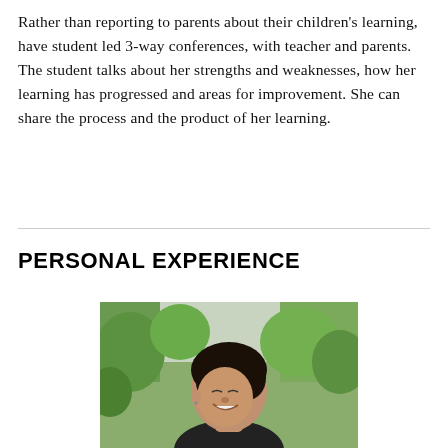Rather than reporting to parents about their children's learning, have student led 3-way conferences, with teacher and parents. The student talks about her strengths and weaknesses, how her learning has progressed and areas for improvement. She can share the process and the product of her learning.
PERSONAL EXPERIENCE
[Figure (photo): A young woman with dark hair pulled back, smiling, photographed outdoors with green foliage in the background. She is wearing a dark top and appears happy.]